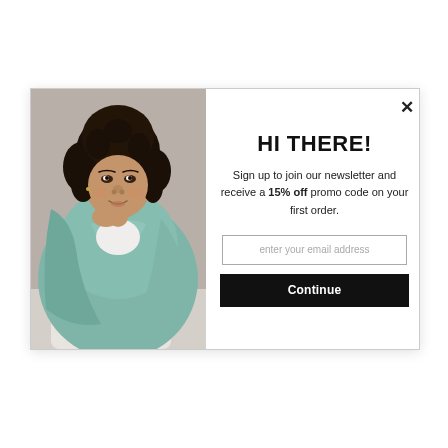[Figure (photo): A woman with curly dark hair wrapped in a teal/sage colored blanket or throw, looking upward and to the side. Neutral beige/grey background. She is wearing a white top underneath the blanket.]
×
HI THERE!
Sign up to join our newsletter and receive a 15% off promo code on your first order.
enter your email address
Continue